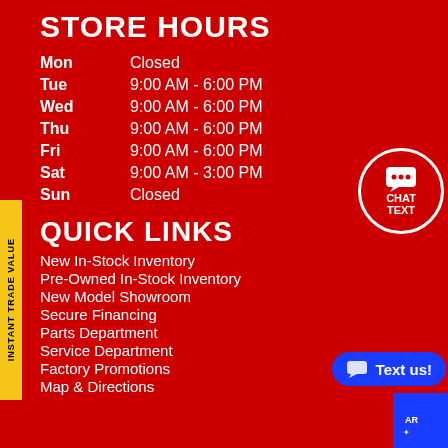STORE HOURS
| Day | Hours |
| --- | --- |
| Mon | Closed |
| Tue | 9:00 AM - 6:00 PM |
| Wed | 9:00 AM - 6:00 PM |
| Thu | 9:00 AM - 6:00 PM |
| Fri | 9:00 AM - 6:00 PM |
| Sat | 9:00 AM - 3:00 PM |
| Sun | Closed |
QUICK LINKS
New In-Stock Inventory
Pre-Owned In-Stock Inventory
New Model Showroom
Secure Financing
Parts Department
Service Department
Factory Promotions
Map & Directions
[Figure (infographic): Red circular chat button with speech bubble icon, labeled CHAT TEXT]
[Figure (infographic): Blue pill-shaped Text us! button with chat bubble icon]
INSTANT TRADE VALUE